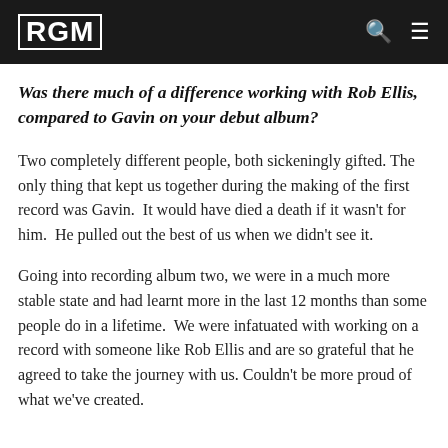RGM
Was there much of a difference working with Rob Ellis, compared to Gavin on your debut album?
Two completely different people, both sickeningly gifted. The only thing that kept us together during the making of the first record was Gavin. It would have died a death if it wasn't for him. He pulled out the best of us when we didn't see it.
Going into recording album two, we were in a much more stable state and had learnt more in the last 12 months than some people do in a lifetime. We were infatuated with working on a record with someone like Rob Ellis and are so grateful that he agreed to take the journey with us. Couldn't be more proud of what we've created.